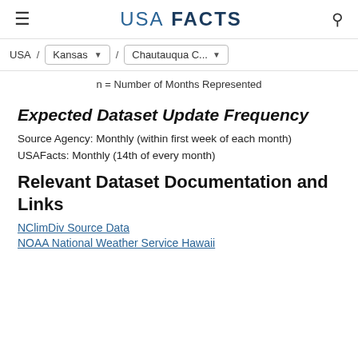USA FACTS
USA / Kansas / Chautauqua C...
n = Number of Months Represented
Expected Dataset Update Frequency
Source Agency: Monthly (within first week of each month)
USAFacts: Monthly (14th of every month)
Relevant Dataset Documentation and Links
NClimDiv Source Data
NOAA National Weather Service Hawaii